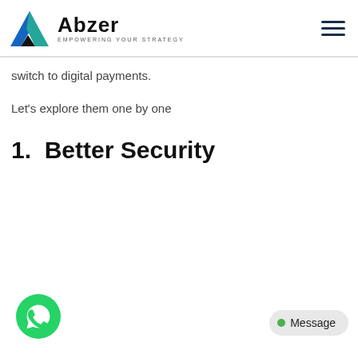Abzer — EMPOWERING YOUR STRATEGY
switch to digital payments.
Let's explore them one by one
1. Better Security
[Figure (logo): WhatsApp contact button — green circle with phone handset icon]
Message